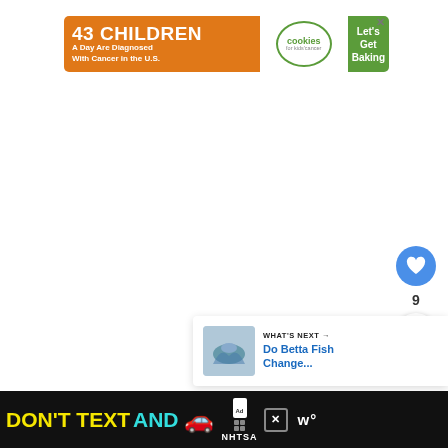[Figure (infographic): Banner advertisement: orange left section with '43 CHILDREN A Day Are Diagnosed With Cancer in the U.S.', center white oval with cookies for kids cancer logo, green right section with 'Let's Get Baking' text, and an X close button.]
[Figure (infographic): Blue circular like/heart button with heart icon]
9
[Figure (infographic): White circular share button with share icon]
[Figure (infographic): What's Next panel with fish thumbnail image and text 'WHAT'S NEXT → Do Betta Fish Change...']
[Figure (infographic): Bottom black banner ad: 'DON'T TEXT AND' in yellow and cyan lettering with red car emoji, NHTSA ad logo, and close button]